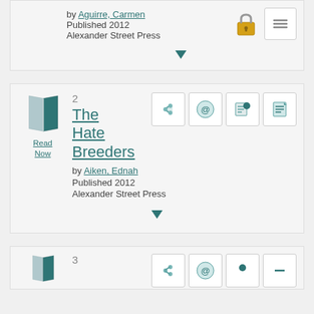by Aguirre, Carmen
Published 2012
Alexander Street Press
[Figure (screenshot): Top card partial: lock icon and menu icon action buttons, down arrow indicator]
2
The Hate Breeders
by Aiken, Ednah
Published 2012
Alexander Street Press
[Figure (screenshot): Second card: book thumbnail, Read Now link, share/email/annotate/notes action icons, down arrow]
3
[Figure (screenshot): Third card partial at bottom: book thumbnail and result number 3 with action icons]